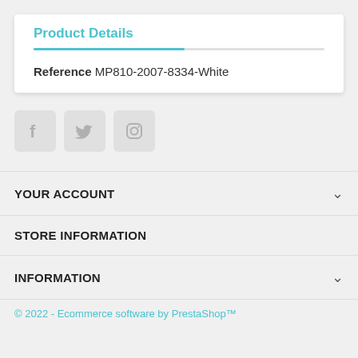Product Details
Reference MP810-2007-8334-White
[Figure (other): Social media icons for Facebook, Twitter, and Instagram, rendered as light grey rounded square icons]
YOUR ACCOUNT
STORE INFORMATION
INFORMATION
© 2022 - Ecommerce software by PrestaShop™